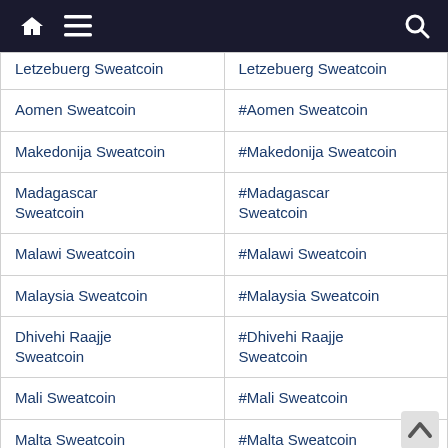Navigation bar with home, menu, and search icons
| Name | Hashtag |
| --- | --- |
| Letzebuerg Sweatcoin | Letzebuerg Sweatcoin |
| Aomen Sweatcoin | #Aomen Sweatcoin |
| Makedonija Sweatcoin | #Makedonija Sweatcoin |
| Madagascar Sweatcoin | #Madagascar Sweatcoin |
| Malawi Sweatcoin | #Malawi Sweatcoin |
| Malaysia Sweatcoin | #Malaysia Sweatcoin |
| Dhivehi Raajje Sweatcoin | #Dhivehi Raajje Sweatcoin |
| Mali Sweatcoin | #Mali Sweatcoin |
| Malta Sweatcoin | #Malta Sweatcoin |
| Marshall Islands | #Marshall Islands |